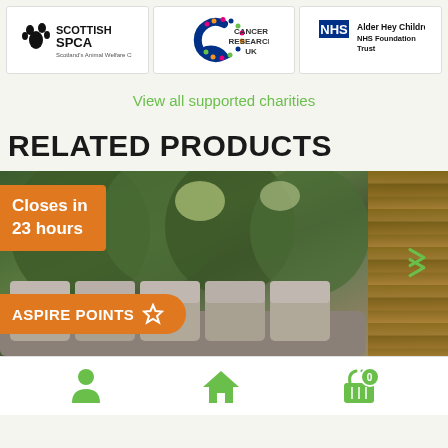[Figure (logo): Scottish SPCA charity logo]
[Figure (logo): Cancer Research UK logo]
[Figure (logo): NHS Alder Hey Children's NHS Foundation Trust logo]
View all supported charities
RELATED PRODUCTS
[Figure (photo): Garden furniture product photo with 'Closes in 23 hours' badge, 'ASPIRE POINTS' badge, and navigation arrow. Shows outdoor sofa set with cushions, surrounded by trees and wood panel wall.]
[Figure (infographic): Bottom navigation bar with person icon, home icon, and shopping basket icon with badge showing 0]